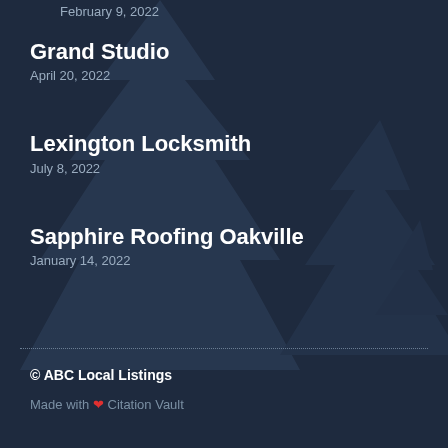February 9, 2022
Grand Studio
April 20, 2022
Lexington Locksmith
July 8, 2022
Sapphire Roofing Oakville
January 14, 2022
© ABC Local Listings
Made with ❤ Citation Vault